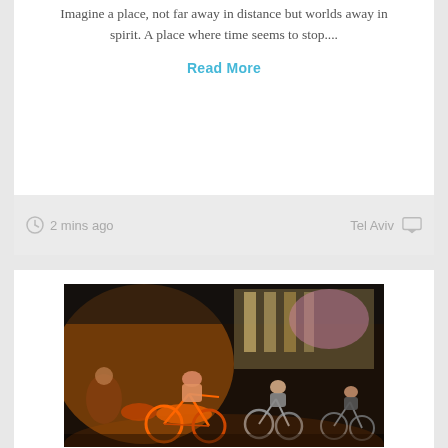Imagine a place, not far away in distance but worlds away in spirit. A place where time seems to stop....
Read More
2 mins ago
Tel Aviv
[Figure (photo): Group of cyclists riding bicycles at night in an urban setting, with warm orange and ambient lighting inside what appears to be a shop or event space.]
EVENTS
CRITICAL MASS TLV RIDE
(Hebrew follows) Another refreshing